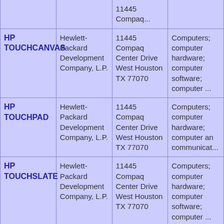| Trademark | Owner | Address | Goods/Services |
| --- | --- | --- | --- |
| HP TOUCHCANVAS | Hewlett-Packard Development Company, L.P. | 11445 Compaq Center Drive West Houston TX 77070 | Computers; computer hardware; computer software; computer ... |
| HP TOUCHPAD | Hewlett-Packard Development Company, L.P. | 11445 Compaq Center Drive West Houston TX 77070 | Computers; computer hardware; computer and communicat... |
| HP TOUCHSLATE | Hewlett-Packard Development Company, L.P. | 11445 Compaq Center Drive West Houston TX 77070 | Computers; computer hardware; computer software; computer ... |
| HP TOUCHZONE | Hewlett-Packard... | 11445... | Equipment... |